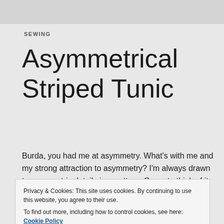SEWING
Asymmetrical Striped Tunic
Burda, you had me at asymmetry. What’s with me and my strong attraction to asymmetry? I’m always drawn to asymmetric details in a pattern. Come to think of it, possibly even in husbands, too,
Privacy & Cookies: This site uses cookies. By continuing to use this website, you agree to their use.
To find out more, including how to control cookies, see here: Cookie Policy
Close and accept